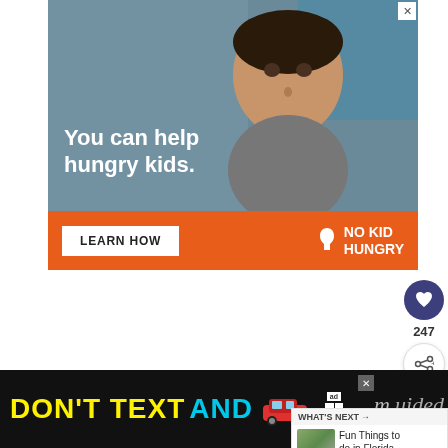[Figure (photo): No Kid Hungry advertisement banner showing a child eating, with text 'You can help hungry kids.' and a 'LEARN HOW' button on an orange bar with No Kid Hungry logo]
If you want to know more about the cultural aspect of this neighborhood, you
[Figure (infographic): What's Next panel with thumbnail image and text 'Fun Things to do in Florida...']
[Figure (screenshot): NHTSA 'DON'T TEXT AND [drive]' advertisement banner with car emoji at bottom of page]